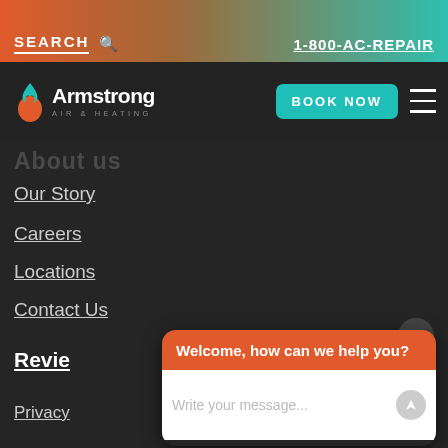SEARCH  🔍   1-800-AC-REPAIR
[Figure (logo): Armstrong Air & Heating logo with flame icon]
BOOK NOW
About us
Our Story
Careers
Locations
Contact Us
Reviews
Privacy
Welcome, how can we help you?
Write your message...